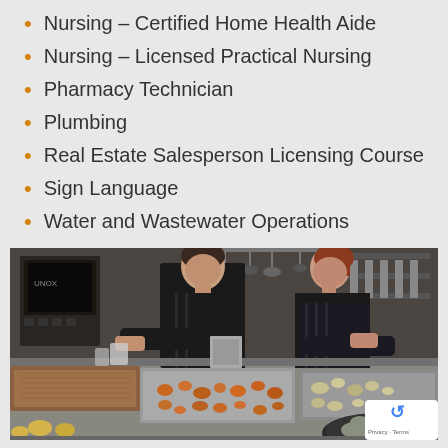Nursing – Certified Home Health Aide
Nursing – Licensed Practical Nursing
Pharmacy Technician
Plumbing
Real Estate Salesperson Licensing Course
Sign Language
Water and Wastewater Operations
[Figure (photo): Two chefs in black aprons working in a professional kitchen, preparing food on a stainless steel counter with various dishes and ingredients visible.]